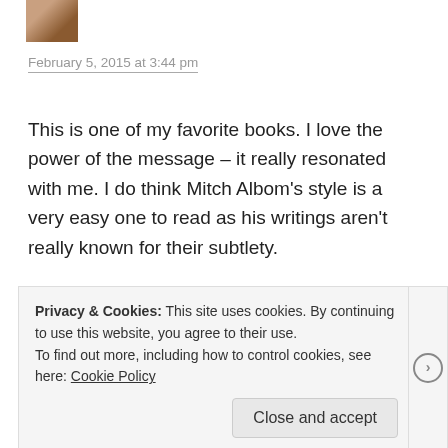[Figure (photo): Small avatar photo of a person, partially visible at top left]
February 5, 2015 at 3:44 pm
This is one of my favorite books. I love the power of the message – it really resonated with me. I do think Mitch Albom's style is a very easy one to read as his writings aren't really known for their subtlety.
★ Like
Reply
Privacy & Cookies: This site uses cookies. By continuing to use this website, you agree to their use.
To find out more, including how to control cookies, see here: Cookie Policy
Close and accept